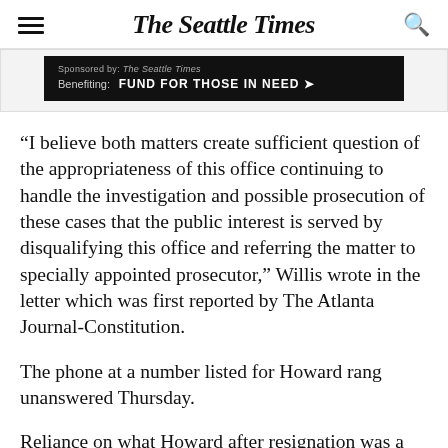The Seattle Times
[Figure (other): Advertisement banner: Sponsored by The Seattle Times. Benefiting: FUND FOR THOSE IN NEED]
“I believe both matters create sufficient question of the appropriateness of this office continuing to handle the investigation and possible prosecution of these cases that the public interest is served by disqualifying this office and referring the matter to specially appointed prosecutor,” Willis wrote in the letter which was first reported by The Atlanta Journal-Constitution.
The phone at a number listed for Howard rang unanswered Thursday.
Reliance on what Howard after resignation was a joint